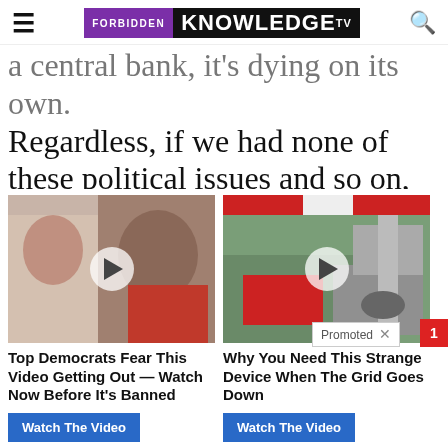FORBIDDEN KNOWLEDGE TV
a central bank, it's dying on its own. Regardless, if we had none of these political issues and so on, the central bank would still be dying, because of the nature of the currency. So we know the systems are lon
[Figure (screenshot): Promoted ad widget with two video thumbnails. Left: political figures thumbnail with play button. Right: gas station scene thumbnail with play button. Left caption: 'Top Democrats Fear This Video Getting Out — Watch Now Before It's Banned' with 'Watch The Video' button. Right caption: 'Why You Need This Strange Device When The Grid Goes Down' with 'Watch The Video' button.]